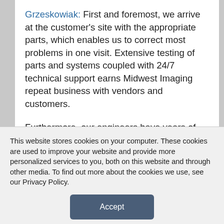Grzeskowiak: First and foremost, we arrive at the customer's site with the appropriate parts, which enables us to correct most problems in one visit. Extensive testing of parts and systems coupled with 24/7 technical support earns Midwest Imaging repeat business with vendors and customers.
Furthermore, our engineers have years of experience working on multiple brands of systems.
24×7: The decision of where to send equipment for repair is a big one for many facilities. How do you build up a level of trust with customers?
This website stores cookies on your computer. These cookies are used to improve your website and provide more personalized services to you, both on this website and through other media. To find out more about the cookies we use, see our Privacy Policy.